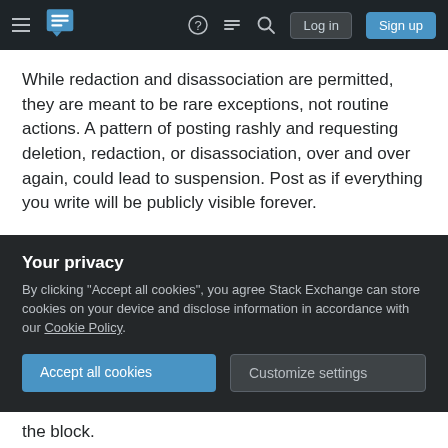Stack Exchange navigation bar with hamburger menu, logo, help, chat, search icons, Log in and Sign up buttons
While redaction and disassociation are permitted, they are meant to be rare exceptions, not routine actions. A pattern of posting rashly and requesting deletion, redaction, or disassociation, over and over again, could lead to suspension. Post as if everything you write will be publicly visible forever.
Vandalizing or excessive deletion of useful posts may trigger an alert within the system, and prompt action from the moderation team. Please be respectful of the efforts of others: avoid invalidating their work or creating a nuisance.
Your privacy
By clicking "Accept all cookies", you agree Stack Exchange can store cookies on your device and disclose information in accordance with our Cookie Policy.
Accept all cookies
Customize settings
the block.